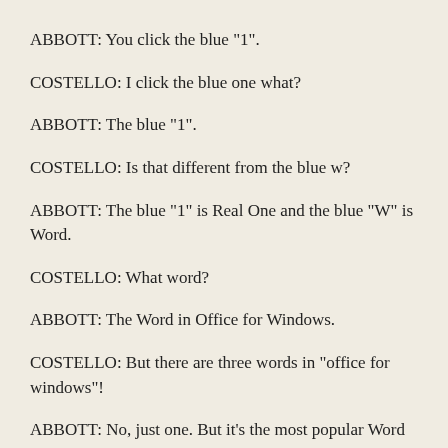ABBOTT: You click the blue "1".
COSTELLO: I click the blue one what?
ABBOTT: The blue "1".
COSTELLO: Is that different from the blue w?
ABBOTT: The blue "1" is Real One and the blue "W" is Word.
COSTELLO: What word?
ABBOTT: The Word in Office for Windows.
COSTELLO: But there are three words in "office for windows"!
ABBOTT: No, just one. But it's the most popular Word in the world.
COSTELLO: It is?